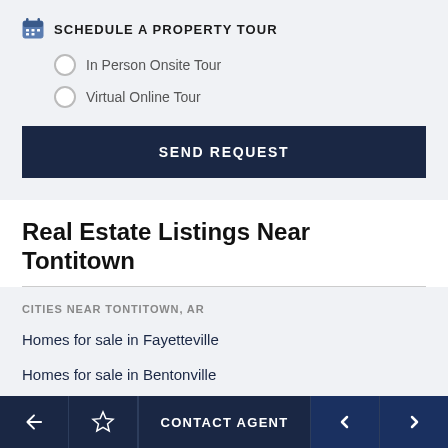SCHEDULE A PROPERTY TOUR
In Person Onsite Tour
Virtual Online Tour
SEND REQUEST
Real Estate Listings Near Tontitown
CITIES NEAR TONTITOWN, AR
Homes for sale in Fayetteville
Homes for sale in Bentonville
Homes for sale in Rogers
CONTACT AGENT